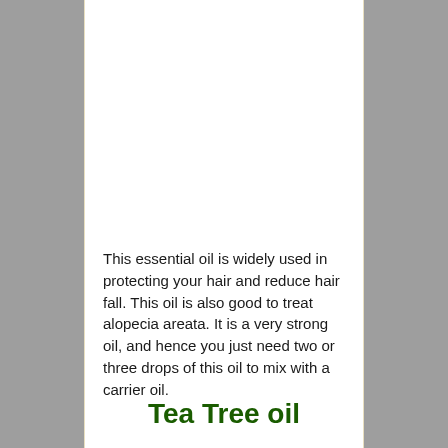This essential oil is widely used in protecting your hair and reduce hair fall. This oil is also good to treat alopecia areata. It is a very strong oil, and hence you just need two or three drops of this oil to mix with a carrier oil.
Tea Tree oil